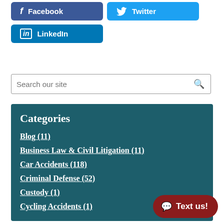[Figure (other): Social media share buttons: Facebook (dark blue), Twitter (light blue), LinkedIn (blue)]
Search our site
Categories
Blog (11)
Business Law & Civil Litigation (11)
Car Accidents (118)
Criminal Defense (52)
Custody (1)
Cycling Accidents (1)